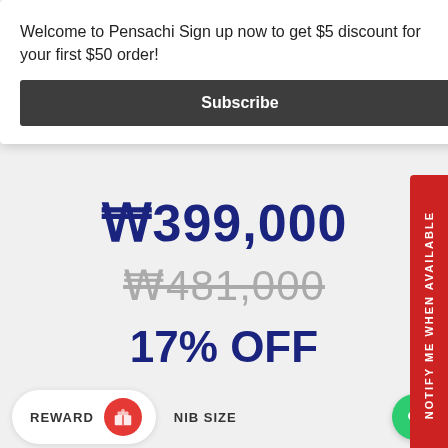Welcome to Pensachi Sign up now to get $5 discount for your first $50 order!
Subscribe
₩399,000
₩481,000
17% OFF
WORLDWIDE SHIPPING
No reviews
REWARD
NIB SIZE
NOTIFY ME WHEN AVAILABLE